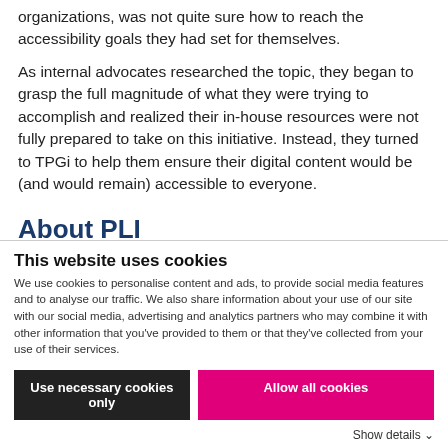organizations, was not quite sure how to reach the accessibility goals they had set for themselves.
As internal advocates researched the topic, they began to grasp the full magnitude of what they were trying to accomplish and realized their in-house resources were not fully prepared to take on this initiative. Instead, they turned to TPGi to help them ensure their digital content would be (and would remain) accessible to everyone.
About PLI
This website uses cookies
We use cookies to personalise content and ads, to provide social media features and to analyse our traffic. We also share information about your use of our site with our social media, advertising and analytics partners who may combine it with other information that you've provided to them or that they've collected from your use of their services.
Use necessary cookies only
Allow all cookies
Show details